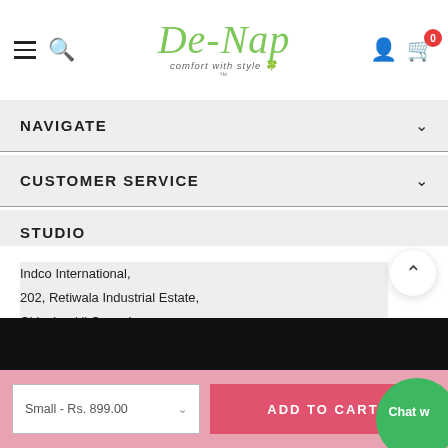De-Nap – comfort with style
NAVIGATE
CUSTOMER SERVICE
STUDIO
Indco International,
202, Retiwala Industrial Estate,
Chinchpokli Cross Lane
Byculla (East), Mumbai - 27
Email: shopdenap@gmail.com
Small - Rs. 899.00
ADD TO CART
Chat w